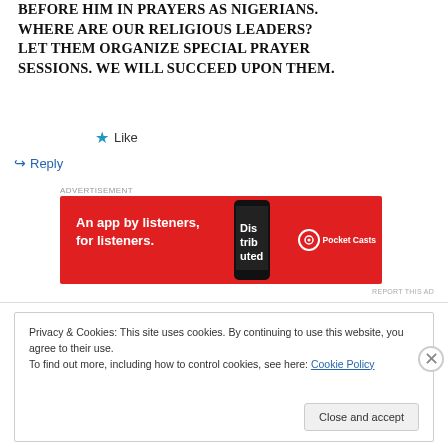BEFORE HIM IN PRAYERS AS NIGERIANS. WHERE ARE OUR RELIGIOUS LEADERS? LET THEM ORGANIZE SPECIAL PRAYER SESSIONS. WE WILL SUCCEED UPON THEM.
★ Like
↪ Reply
[Figure (screenshot): Pocket Casts advertisement banner with red background. Text reads 'An app by listeners, for listeners.' with phone image and Pocket Casts logo.]
REPORT THIS AD
Privacy & Cookies: This site uses cookies. By continuing to use this website, you agree to their use. To find out more, including how to control cookies, see here: Cookie Policy
Close and accept